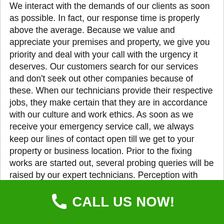We interact with the demands of our clients as soon as possible. In fact, our response time is properly above the average. Because we value and appreciate your premises and property, we give you priority and deal with your call with the urgency it deserves. Our customers search for our services and don't seek out other companies because of these. When our technicians provide their respective jobs, they make certain that they are in accordance with our culture and work ethics. As soon as we receive your emergency service call, we always keep our lines of contact open till we get to your property or business location. Prior to the fixing works are started out, several probing queries will be raised by our expert technicians. Perception with regards to our support should last long. This is what our Air Condition Pros of Cooperstown believes. Technological progression and modern techniques are also utilized in delivering our ac repair service to our customers.
Professional Air Conditioner Installment
CALL US NOW!